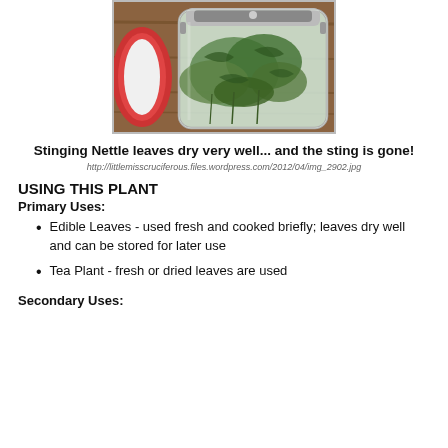[Figure (photo): A glass jar with a hinged lid containing dried stinging nettle leaves, with a red dish or lid visible to the left, sitting on a wooden surface.]
Stinging Nettle leaves dry very well... and the sting is gone!
http://littlemisscruciferous.files.wordpress.com/2012/04/img_2902.jpg
USING THIS PLANT
Primary Uses:
Edible Leaves - used fresh and cooked briefly; leaves dry well and can be stored for later use
Tea Plant - fresh or dried leaves are used
Secondary Uses: